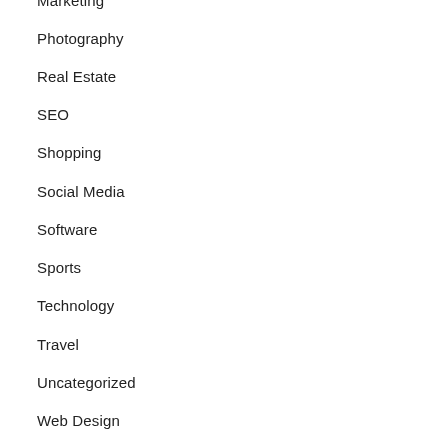Marketing
Photography
Real Estate
SEO
Shopping
Social Media
Software
Sports
Technology
Travel
Uncategorized
Web Design